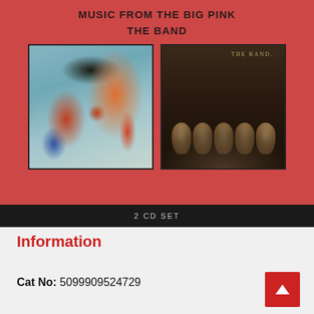MUSIC FROM THE BIG PINK
THE BAND
[Figure (photo): 2 CD set album artwork. Left: painted folk-art illustration with musicians. Right: black and white photo of The Band members. Bottom bar reads '2 CD SET'.]
Information
Cat No: 5099909524729